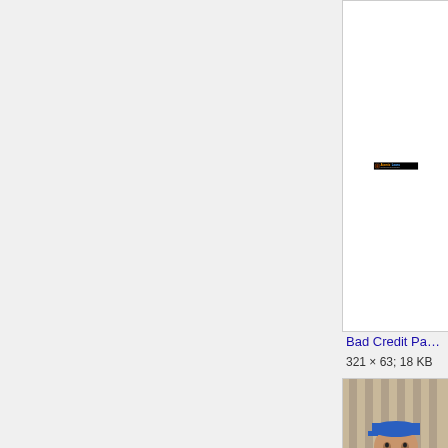[Figure (logo): AtomicLoans logo banner - black background with orange and blue text reading 'Atomic Loans' and subtitle 'short term loan info and resources']
Bad Credit Payday Loan…
321 × 63; 18 KB
[Figure (photo): Young man wearing a blue cap and grey shirt holding up a handwritten white sign]
Bad credit credit cards 2…
566 × 640; 90 KB
[Figure (screenshot): Partial screenshot of a Chase bank webpage]